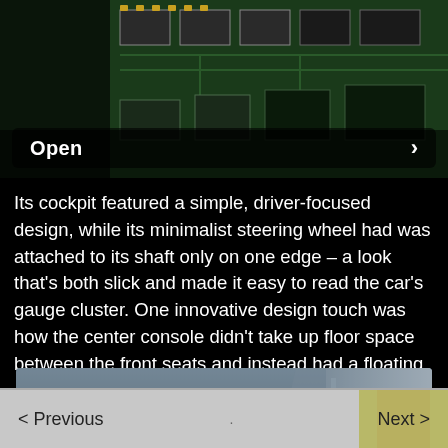[Figure (photo): Circuit board / electronic components image with an 'Open' button overlay and a right-arrow navigation element]
Its cockpit featured a simple, driver-focused design, while its minimalist steering wheel had was attached to its shaft only on one edge – a look that’s both slick and made it easy to read the car’s gauge cluster. One innovative design touch was how the center console didn’t take up floor space between the front seats and instead had a floating cantilever design.
[Figure (photo): Car interior photo showing steering wheel, dashboard, and center console with floating cantilever design]
< Previous · Next >